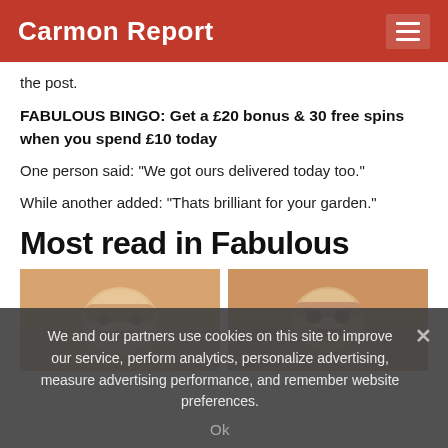Carmon Report
the post.
FABULOUS BINGO: Get a £20 bonus & 30 free spins when you spend £10 today
One person said: "We got ours delivered today too."
While another added: "Thats brilliant for your garden."
Most read in Fabulous
[Figure (photo): Two side-by-side thumbnail photos of women with surprised expressions against a warm orange/fire background]
We and our partners use cookies on this site to improve our service, perform analytics, personalize advertising, measure advertising performance, and remember website preferences.